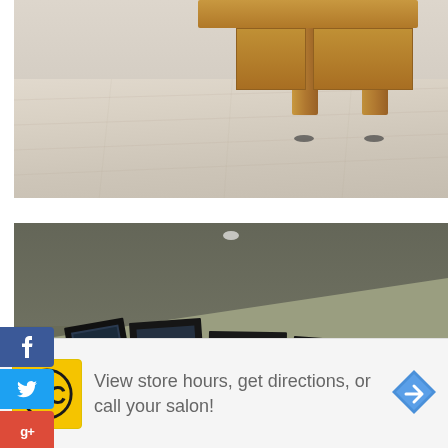[Figure (photo): Close-up photo of wooden furniture legs (likely a bookshelf or cabinet) with rustic wood grain, resting on a light laminate wood floor.]
[Figure (screenshot): Interior room photo showing a large wall with framed photographs/artwork leaning against or placed on a low surface along the base of the wall. A smoke detector is visible on the ceiling. Social media share buttons (Facebook, Twitter, Google+, Email, Phone) are overlaid on the left side, with a share count of 0 and a chevron toggle.]
[Figure (infographic): Advertisement banner: HC (Hair Club) logo on yellow background, text reads 'View store hours, get directions, or call your salon!' with a blue navigation arrow icon on the right. Small play and X icons in bottom-left corner.]